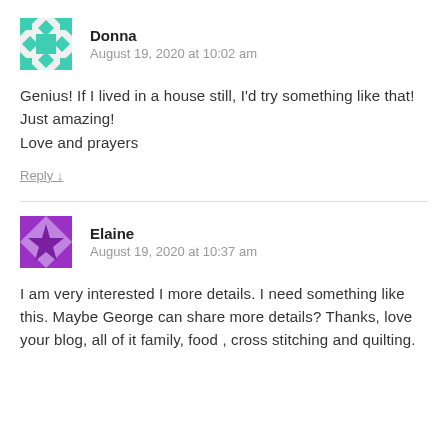[Figure (illustration): Teal/green geometric quilt-pattern avatar icon for user Donna]
Donna
August 19, 2020 at 10:02 am
Genius! If I lived in a house still, I'd try something like that! Just amazing!
Love and prayers
Reply ↓
[Figure (illustration): Purple geometric quilt-pattern avatar icon for user Elaine]
Elaine
August 19, 2020 at 10:37 am
I am very interested I more details. I need something like this. Maybe George can share more details? Thanks, love your blog, all of it family, food , cross stitching and quilting.